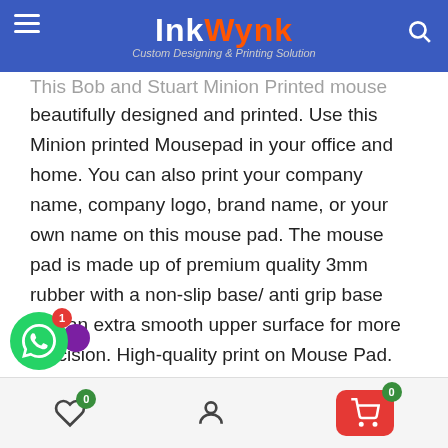InkWynk – Custom Designing & Printing Solution
This Bob and Stuart Minion Printed mouse pad is beautifully designed and printed. Use this Minion printed Mousepad in your office and home. You can also print your company name, company logo, brand name, or your own name on this mouse pad. The mouse pad is made up of premium quality 3mm rubber with a non-slip base/ anti grip base and an extra smooth upper surface for more precision. High-quality print on Mouse Pad. We offer you a lifetime print warranty on our mouse pads and other printed items.
More Features of Mouse Pad